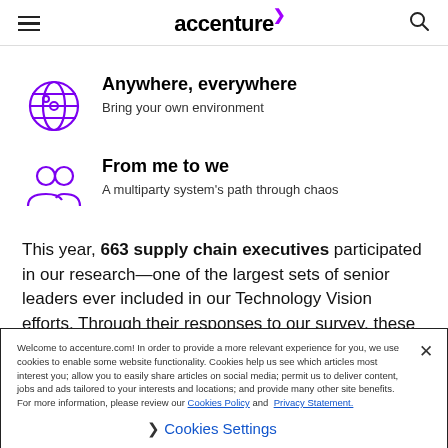accenture
Anywhere, everywhere
Bring your own environment
From me to we
A multiparty system's path through chaos
This year, 663 supply chain executives participated in our research—one of the largest sets of senior leaders ever included in our Technology Vision efforts. Through their responses to our survey, these executives conveyed their
Welcome to accenture.com! In order to provide a more relevant experience for you, we use cookies to enable some website functionality. Cookies help us see which articles most interest you; allow you to easily share articles on social media; permit us to deliver content, jobs and ads tailored to your interests and locations; and provide many other site benefits. For more information, please review our Cookies Policy and Privacy Statement.
Cookies Settings